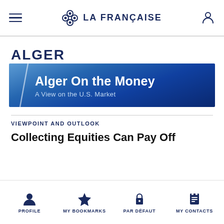LA FRANÇAISE
[Figure (logo): Alger logo and 'Alger On the Money – A View on the U.S. Market' banner image in blue gradient]
VIEWPOINT AND OUTLOOK
Collecting Equities Can Pay Off
PROFILE | MY BOOKMARKS | PAR DÉFAUT | MY CONTACTS